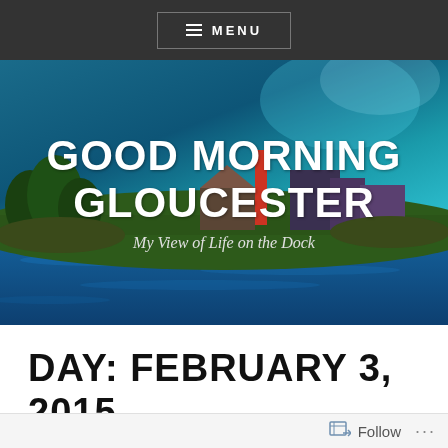MENU
[Figure (illustration): Hero banner image of Gloucester harbor with stylized/illustrated coastal scene showing buildings, trees, water, and colorful sky. Title 'GOOD MORNING GLOUCESTER' and subtitle 'My View of Life on the Dock' overlaid on image.]
GOOD MORNING GLOUCESTER
My View of Life on the Dock
DAY: FEBRUARY 3, 2015
Follow ...